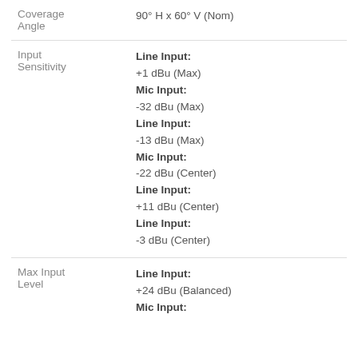| Parameter | Value |
| --- | --- |
| Coverage Angle | 90° H x 60° V (Nom) |
| Input Sensitivity | Line Input:
+1 dBu (Max)
Mic Input:
-32 dBu (Max)
Line Input:
-13 dBu (Max)
Mic Input:
-22 dBu (Center)
Line Input:
+11 dBu (Center)
Line Input:
-3 dBu (Center) |
| Max Input Level | Line Input:
+24 dBu (Balanced)
Mic Input: |